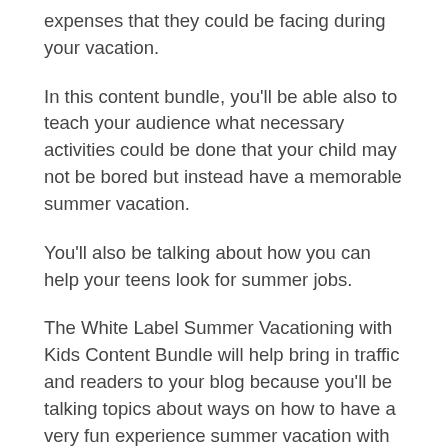expenses that they could be facing during your vacation.
In this content bundle, you'll be able also to teach your audience what necessary activities could be done that your child may not be bored but instead have a memorable summer vacation.
You'll also be talking about how you can help your teens look for summer jobs.
The White Label Summer Vacationing with Kids Content Bundle will help bring in traffic and readers to your blog because you'll be talking topics about ways on how to have a very fun experience summer vacation with their kids.
As a parent, it is our responsibility to reassure our